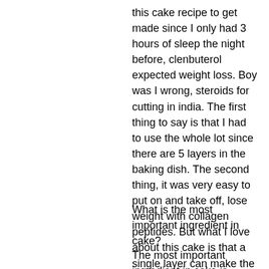this cake recipe to get made since I only had 3 hours of sleep the night before, clenbuterol expected weight loss. Boy was I wrong, steroids for cutting in india. The first thing to say is that I had to use the whole lot since there are 5 layers in the baking dish. The second thing, it was very easy to put on and take off, lose weight with collagen peptides. But what I love about this cake is that a single layer can make the difference between a day of fun and a day of exercise. The key is to have the rest of your day to get out and have fun! There are lots of other health and fitness tips as well, sarms fat burner." - Linda B, sarms fat burner.
What is the most important ingredient in cake?
The most important ingredient in cake is